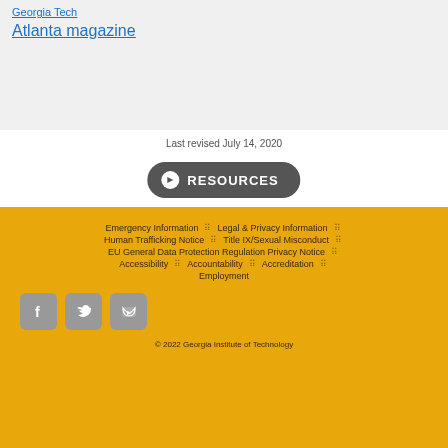Georgia Tech
Atlanta magazine
Last revised July 14, 2020
[Figure (other): Resources button with arrow icon]
Emergency Information | Legal & Privacy Information | Human Trafficking Notice | Title IX/Sexual Misconduct | EU General Data Protection Regulation Privacy Notice | Accessibility | Accountability | Accreditation | Employment
[Figure (other): Social media icons: Facebook, Twitter, YouTube]
© 2022 Georgia Institute of Technology